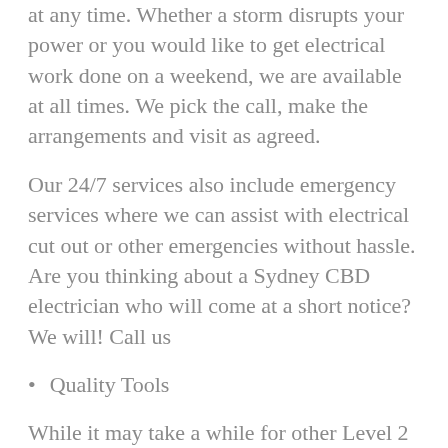at any time. Whether a storm disrupts your power or you would like to get electrical work done on a weekend, we are available at all times. We pick the call, make the arrangements and visit as agreed.
Our 24/7 services also include emergency services where we can assist with electrical cut out or other emergencies without hassle. Are you thinking about a Sydney CBD electrician who will come at a short notice? We will! Call us
Quality Tools
While it may take a while for other Level 2 electricians to figure out the fault or what you need, it takes our Level 2 Electricians only a few